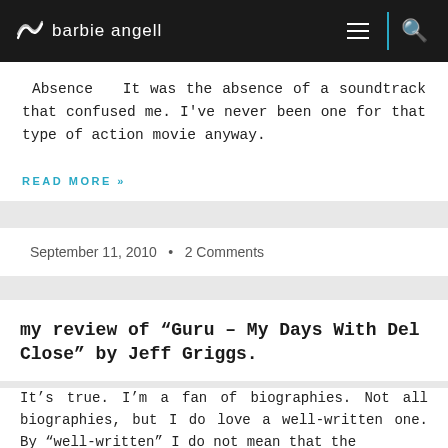barbie angell
Absence  It was the absence of a soundtrack that confused me. I've never been one for that type of action movie anyway.
READ MORE »
September 11, 2010  •  2 Comments
my review of “Guru – My Days With Del Close” by Jeff Griggs.
It’s true. I’m a fan of biographies. Not all biographies, but I do love a well-written one. By “well-written” I do not mean that the